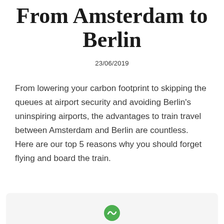From Amsterdam to Berlin
23/06/2019
From lowering your carbon footprint to skipping the queues at airport security and avoiding Berlin's uninspiring airports, the advantages to train travel between Amsterdam and Berlin are countless. Here are our top 5 reasons why you should forget flying and board the train.